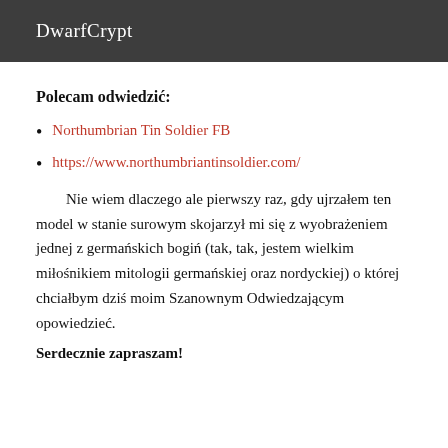DwarfCrypt
Polecam odwiedzić:
Northumbrian Tin Soldier FB
https://www.northumbriantinsoldier.com/
Nie wiem dlaczego ale pierwszy raz, gdy ujrzałem ten model w stanie surowym skojarzył mi się z wyobrażeniem jednej z germańskich bogiń (tak, tak, jestem wielkim miłośnikiem mitologii germańskiej oraz nordyckiej) o której chciałbym dziś moim Szanownym Odwiedzającym opowiedzieć.
Serdecznie zapraszam!